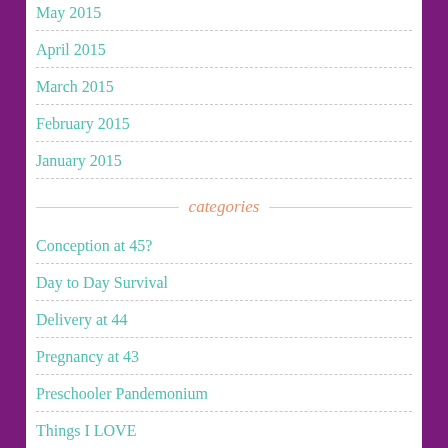May 2015
April 2015
March 2015
February 2015
January 2015
categories
Conception at 45?
Day to Day Survival
Delivery at 44
Pregnancy at 43
Preschooler Pandemonium
Things I LOVE